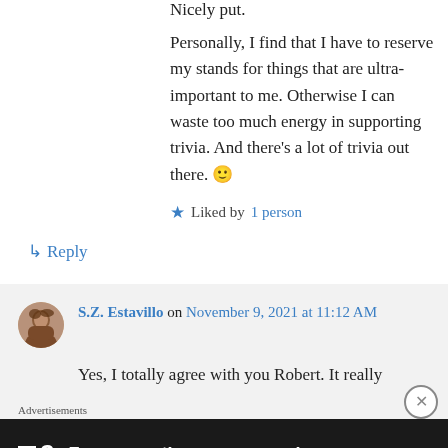Nicely put.
Personally, I find that I have to reserve my stands for things that are ultra-important to me. Otherwise I can waste too much energy in supporting trivia. And there's a lot of trivia out there. 🙂
★ Liked by 1 person
↳ Reply
S.Z. Estavillo on November 9, 2021 at 11:12 AM
Yes, I totally agree with you Robert. It really
Advertisements
[Figure (screenshot): Advertisement banner: dark background with logo showing a square icon and '2', text reads 'Fewer meetings, more work.']